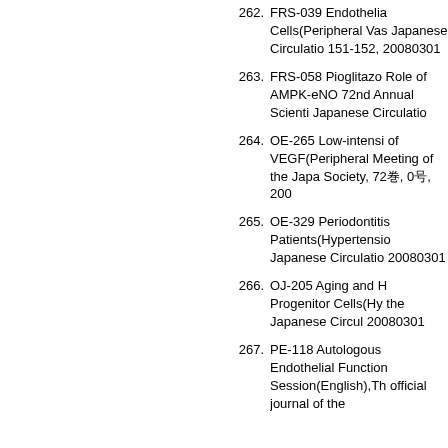262. FRS-039 Endothelia Cells(Peripheral Vas Japanese Circulatio 151-152, 20080301
263. FRS-058 Pioglitazo Role of AMPK-eNO 72nd Annual Scienti Japanese Circulatio
264. OE-265 Low-intensi of VEGF(Peripheral Meeting of the Japa Society, 72巻, 0号, 200
265. OE-329 Periodontitis Patients(Hypertensio Japanese Circulatio 20080301
266. OJ-205 Aging and H Progenitor Cells(Hy the Japanese Circul 20080301
267. PE-118 Autologous Endothelial Function Session(English),Th official journal of the